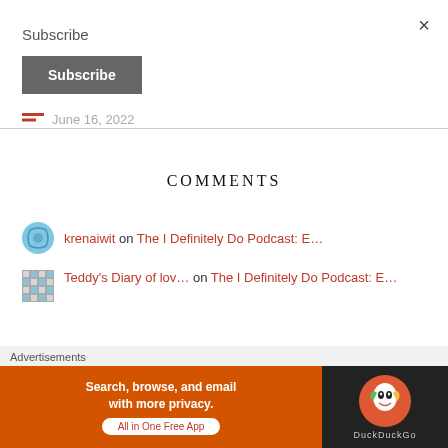×
Subscribe
Subscribe
June 16, 2022
COMMENTS
krenaiwit on The I Definitely Do Podcast: E...
Teddy's Diary of lov... on The I Definitely Do Podcast: E...
Advertisements
[Figure (screenshot): DuckDuckGo advertisement banner: Search, browse, and email with more privacy. All in One Free App]